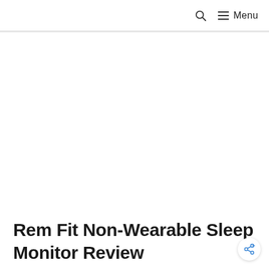Menu
Rem Fit Non-Wearable Sleep Monitor Review